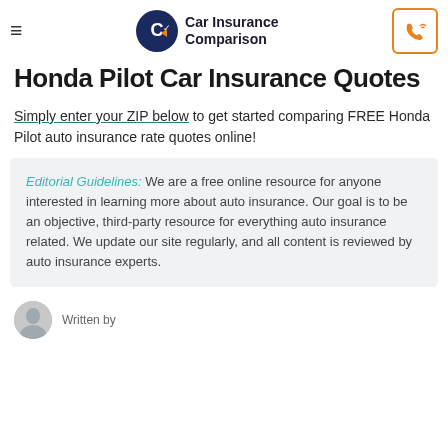Car Insurance Comparison
Honda Pilot Car Insurance Quotes
Simply enter your ZIP below to get started comparing FREE Honda Pilot auto insurance rate quotes online!
Editorial Guidelines: We are a free online resource for anyone interested in learning more about auto insurance. Our goal is to be an objective, third-party resource for everything auto insurance related. We update our site regularly, and all content is reviewed by auto insurance experts.
Written by